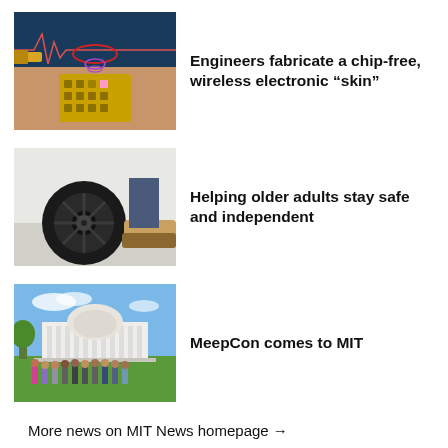[Figure (photo): Electronic skin patch on a wrist showing a gold flexible circuit with wireless connectivity indicators and EKG waveform in the background]
Engineers fabricate a chip-free, wireless electronic “skin”
[Figure (photo): Close-up of a black robotic wheel on a hard floor with a person's shoe visible in the background]
Helping older adults stay safe and independent
[Figure (photo): Group of people standing in front of MIT's Great Dome on a sunny day]
MeepCon comes to MIT
More news on MIT News homepage →